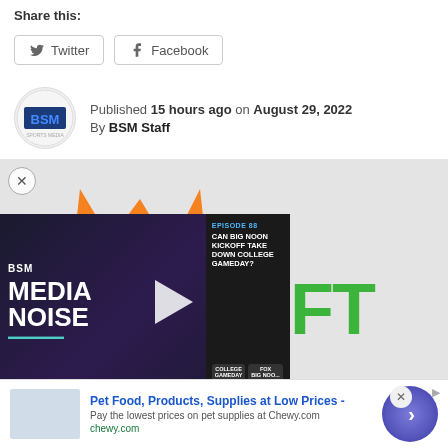Share this:
Twitter
Facebook
Published 15 hours ago on August 29, 2022 By BSM Staff
[Figure (logo): Barrett Sports Media (BSM) circular logo with blue BSM text on white background]
[Figure (photo): DraftKings logo with orange crown and green DRAFT text and black KINGS text on light grey background, overlaid with a BSM Media Noise podcast episode player showing episode about Can Big Noon Kickoff Take Down College Gameday]
[Figure (infographic): Advertisement for Chewy.com: Pet Food, Products, Supplies at Low Prices - Pay the lowest prices on pet supplies at Chewy.com]